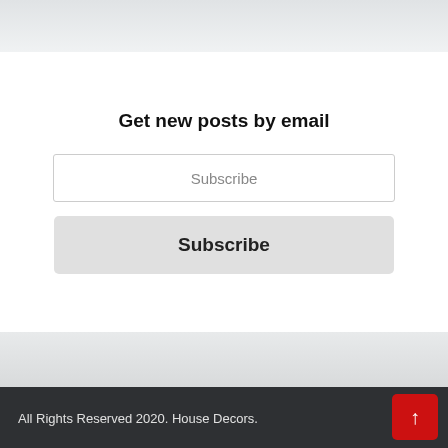Get new posts by email
Subscribe
Subscribe
All Rights Reserved 2020. House Decors.